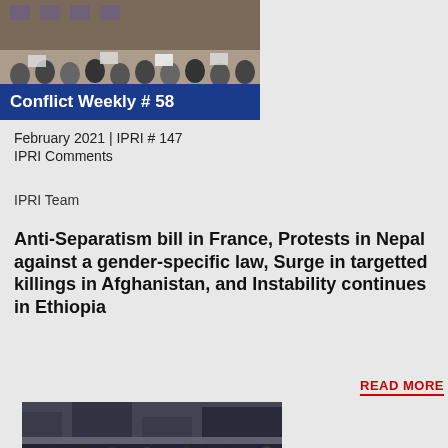[Figure (photo): Photo of protesters wearing masks holding signs, with a blue overlay banner reading 'Conflict Weekly # 58']
Conflict Weekly # 58
February 2021 | IPRI # 147
IPRI Comments
IPRI Team
Anti-Separatism bill in France, Protests in Nepal against a gender-specific law, Surge in targetted killings in Afghanistan, and Instability continues in Ethiopia
READ MORE
[Figure (photo): Photo of a large crowd of protesters, with an inset image showing a person speaking, and a red banner strip at the bottom]